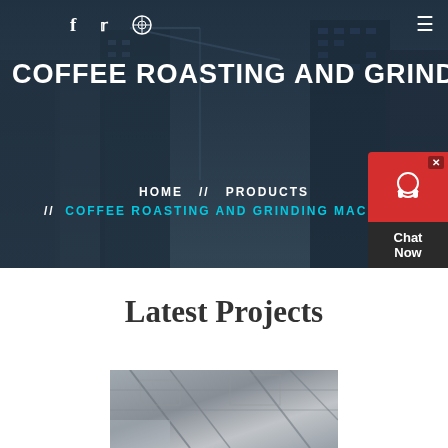COFFEE ROASTING AND GRINDI
HOME // PRODUCTS // COFFEE ROASTING AND GRINDING MACHINE
[Figure (screenshot): Chat Now widget with red header and headset icon]
Latest Projects
[Figure (photo): Construction site photo showing structural framework]